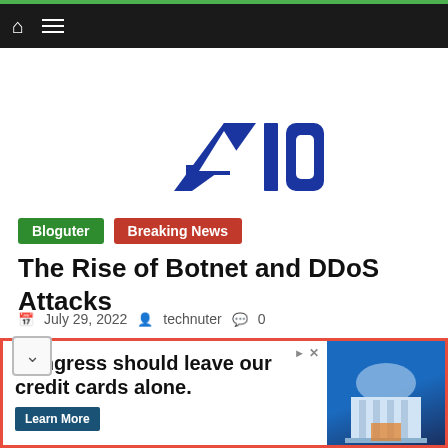Navigation bar with home icon and menu icon
[Figure (logo): A10 Networks logo in bold blue text]
Bloguter   Breaking News
The Rise of Botnet and DDoS Attacks
July 29, 2022   technuter   0
Distributed Denial of Service (DDoS) attacks have become everyday or, some might argue, an hourly problem
[Figure (infographic): Advertisement banner: Congress should leave our credit cards alone. Learn More button with illustration of a building.]